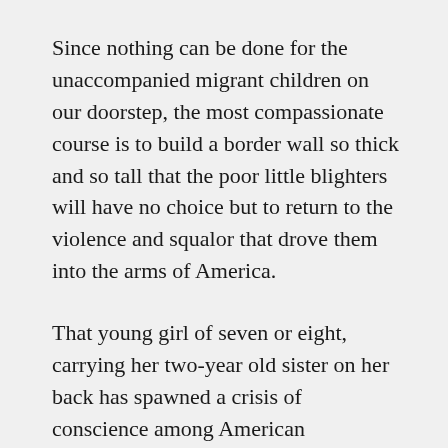Since nothing can be done for the unaccompanied migrant children on our doorstep, the most compassionate course is to build a border wall so thick and so tall that the poor little blighters will have no choice but to return to the violence and squalor that drove them into the arms of America.
That young girl of seven or eight, carrying her two-year old sister on her back has spawned a crisis of conscience among American Christians.
On the whole, we have responded admirably. “This is an unfortunate, even awful, situation